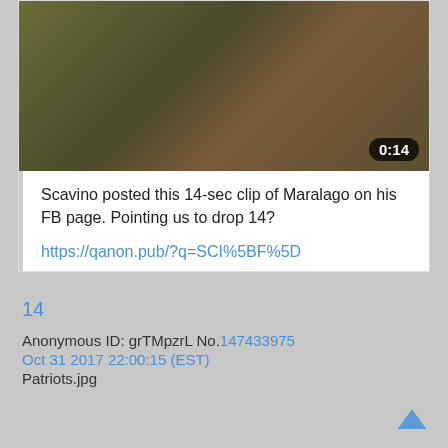[Figure (screenshot): Dark blurry video thumbnail showing a dim outdoor scene, with a video duration badge showing '0:14' in the bottom-right corner.]
Scavino posted this 14-sec clip of Maralago on his FB page. Pointing us to drop 14?
https://qanon.pub/?q=SCI%5BF%5D
14
Anonymous ID: grTMpzrL No.147433975
Oct 31 2017 22:00:15 (EST)
Patriots.jpg